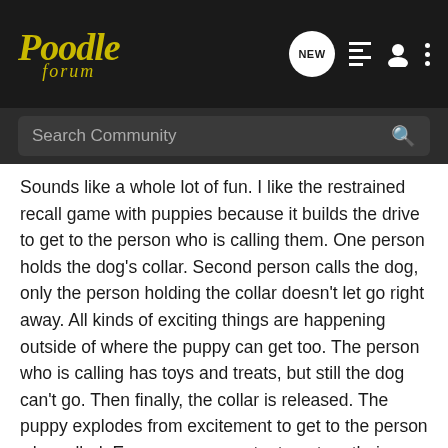Poodle forum
Search Community
Sounds like a whole lot of fun. I like the restrained recall game with puppies because it builds the drive to get to the person who is calling them. One person holds the dog's collar. Second person calls the dog, only the person holding the collar doesn't let go right away. All kinds of exciting things are happening outside of where the puppy can get too. The person who is calling has toys and treats, but still the dog can't go. Then finally, the collar is released. The puppy explodes from excitement to get to the person who called. Ever see a puppy try to outrun their own body? It looks flailing and cartoonish but builds drive for the recall.
The scent tossing game, wow that does sound like something Noelle would enjoy. She's a "sniffy" dog. She would really like being rewarded for using her nose. I'm intimidated by those